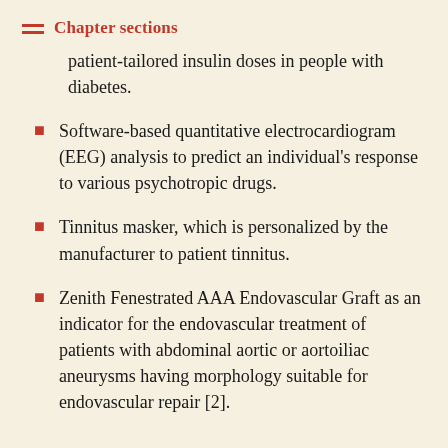Chapter sections
patient-tailored insulin doses in people with diabetes.
Software-based quantitative electrocardiogram (EEG) analysis to predict an individual's response to various psychotropic drugs.
Tinnitus masker, which is personalized by the manufacturer to patient tinnitus.
Zenith Fenestrated AAA Endovascular Graft as an indicator for the endovascular treatment of patients with abdominal aortic or aortoiliac aneurysms having morphology suitable for endovascular repair [2].